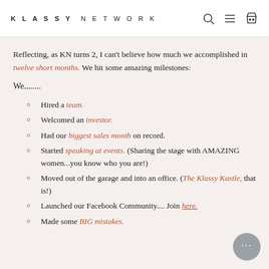KLASSY NETWORK
Reflecting, as KN turns 2, I can't believe how much we accomplished in twelve short months. We hit some amazing milestones:
We........
Hired a team.
Welcomed an investor.
Had our biggest sales month on record.
Started speaking at events. (Sharing the stage with AMAZING women...you know who you are!)
Moved out of the garage and into an office. (The Klassy Kastle, that is!)
Launched our Facebook Community.... Join here.
Made some BIG mistakes.